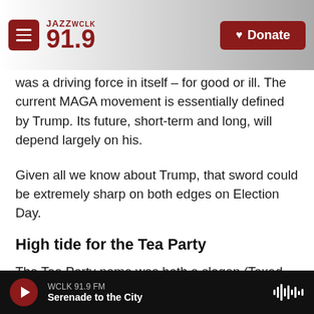JAZZ WCLK 91.9 — Donate
was a driving force in itself – for good or ill. The current MAGA movement is essentially defined by Trump. Its future, short-term and long, will depend largely on his.
Given all we know about Trump, that sword could be extremely sharp on both edges on Election Day.
High tide for the Tea Party
The Tea Party name was both a slogan (Taxed Enough Already) and a feisty reference to the legendary Boston Tea Party of 1773. In grade school we all saw pictures of colonial anti-tax
WCLK 91.9 FM — Serenade to the City